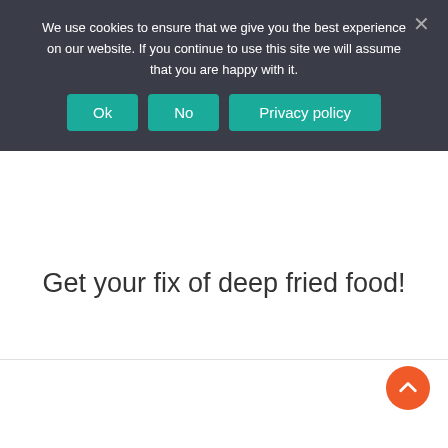We use cookies to ensure that we give you the best experience on our website. If you continue to use this site we will assume that you are happy with it.
Get your fix of deep fried food!